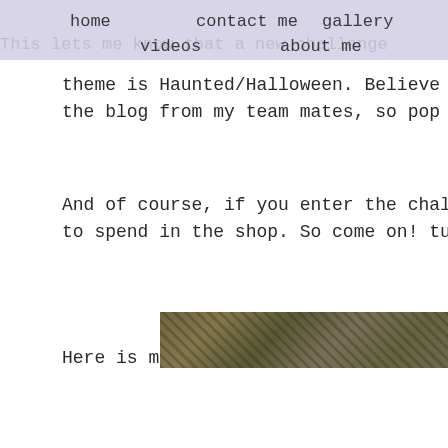home   contact me   gallery
videos   about me
This lets me know that a new challenge
theme is Haunted/Halloween. Believe me, there's so
the blog from my team mates, so pop over there a
And of course, if you enter the challenge there's th
to spend in the shop. So come on! tune into your da
Here is my creation for this challenge.
[Figure (photo): Bottom strip of a photo showing a dark textured scene, partial view]